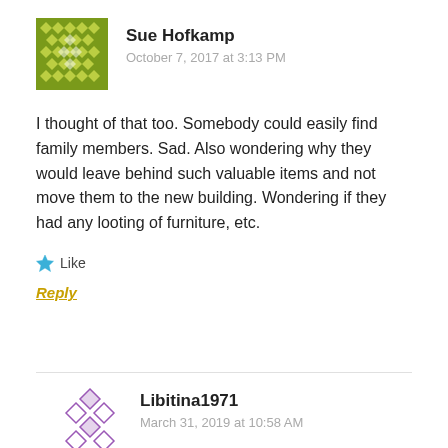[Figure (illustration): Green pixelated/diamond-pattern avatar for user Sue Hofkamp]
Sue Hofkamp
October 7, 2017 at 3:13 PM
I thought of that too. Somebody could easily find family members. Sad. Also wondering why they would leave behind such valuable items and not move them to the new building. Wondering if they had any looting of furniture, etc.
Like
Reply
[Figure (illustration): Purple pixelated/diamond-pattern avatar for user Libitina1971]
Libitina1971
March 31, 2019 at 10:58 AM